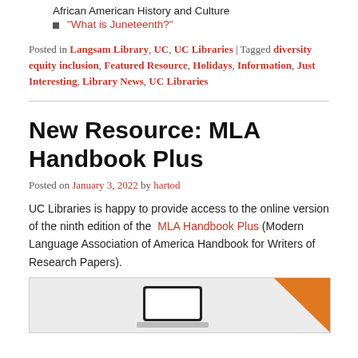African American History and Culture
"What is Juneteenth?"
Posted in Langsam Library, UC, UC Libraries | Tagged diversity equity inclusion, Featured Resource, Holidays, Information, Just Interesting, Library News, UC Libraries
New Resource: MLA Handbook Plus
Posted on January 3, 2022 by hartod
UC Libraries is happy to provide access to the online version of the ninth edition of the MLA Handbook Plus (Modern Language Association of America Handbook for Writers of Research Papers).
[Figure (illustration): Partial image of a laptop on a light gray background with an orange diagonal design element in the upper right corner.]